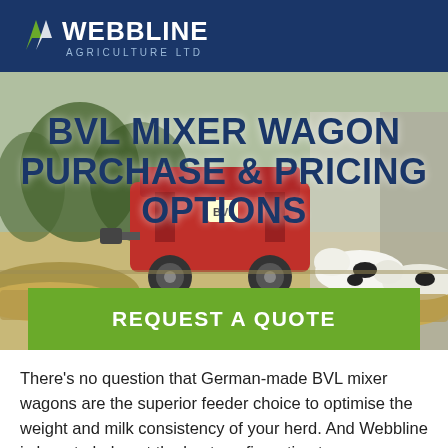WEBBLINE AGRICULTURE LTD
[Figure (photo): Farm scene with a red BVL mixer wagon in a barn, cows eating silage on the right side, trees visible in background]
BVL MIXER WAGON PURCHASE & PRICING OPTIONS
[Figure (other): Green 'REQUEST A QUOTE' call-to-action button]
There’s no question that German-made BVL mixer wagons are the superior feeder choice to optimise the weight and milk consistency of your herd. And Webbline is here to help get the best configuration to